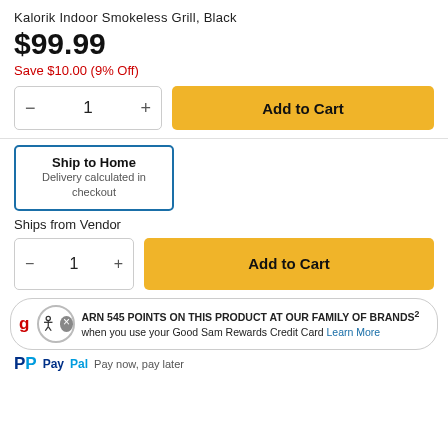Kalorik Indoor Smokeless Grill, Black
$99.99
Save $10.00 (9% Off)
[Figure (infographic): Quantity selector box with minus, 1, plus controls and Add to Cart yellow button]
[Figure (infographic): Ship to Home box with blue border, text: Delivery calculated in checkout]
Ships from Vendor
[Figure (infographic): Second quantity selector with minus, 1, plus and Add to Cart yellow button]
EARN 545 POINTS ON THIS PRODUCT AT OUR FAMILY OF BRANDS² when you use your Good Sam Rewards Credit Card Learn More
PayPal Pay now, pay later